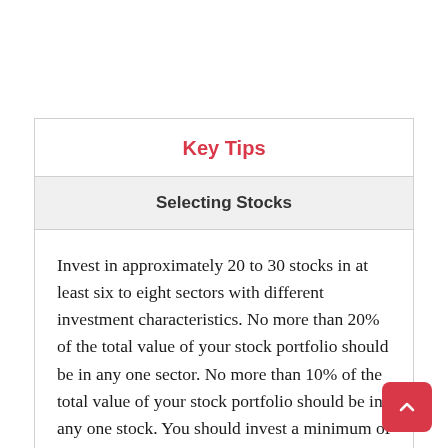Key Tips
Selecting Stocks
Invest in approximately 20 to 30 stocks in at least six to eight sectors with different investment characteristics. No more than 20% of the total value of your stock portfolio should be in any one sector. No more than 10% of the total value of your stock portfolio should be in any one stock. You should invest a minimum of approximately 3%